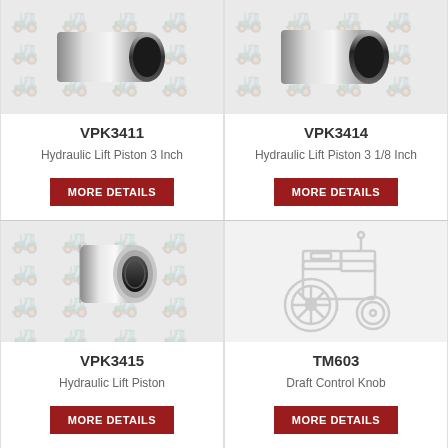[Figure (photo): Hydraulic lift piston cylinder product photo with watermark tractor pattern background - VPK3411]
VPK3411
Hydraulic Lift Piston 3 Inch
MORE DETAILS
[Figure (photo): Hydraulic lift piston cylinder product photo with watermark tractor pattern background - VPK3414]
VPK3414
Hydraulic Lift Piston 3 1/8 Inch
MORE DETAILS
[Figure (photo): Hydraulic lift piston cylinder product photo with watermark tractor pattern background - VPK3415]
VPK3415
Hydraulic Lift Piston
MORE DETAILS
[Figure (illustration): Placeholder tractor outline illustration for TM603 Draft Control Knob]
TM603
Draft Control Knob
MORE DETAILS